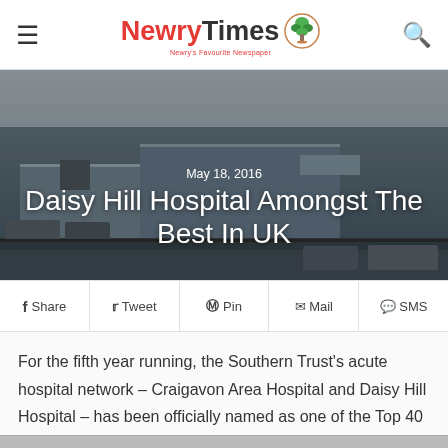Newry Times — Newry's Favourite Newspaper
[Figure (photo): Exterior view of Daisy Hill Hospital / Craigavon Area Hospital building with parking lot in foreground, overcast sky. Text overlay shows date 'May 18, 2016' and headline 'Daisy Hill Hospital Amongst The Best In UK'.]
Daisy Hill Hospital Amongst The Best In UK
May 18, 2016
Share  Tweet  Pin  Mail  SMS
For the fifth year running, the Southern Trust's acute hospital network – Craigavon Area Hospital and Daisy Hill Hospital – has been officially named as one of the Top 40 performing hospitals in the UK.